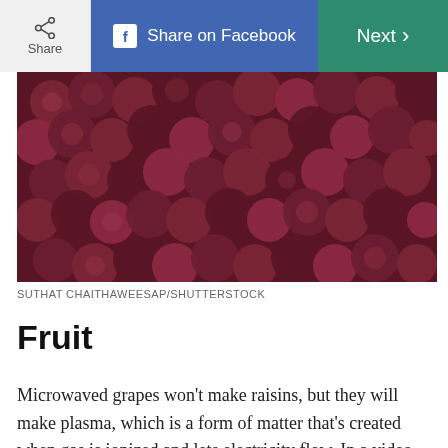Share | Share on Facebook | Next >
[Figure (photo): Close-up photo of red/purple grapes piled together]
SUTHAT CHAITHAWEESAP/SHUTTERSTOCK
Fruit
Microwaved grapes won't make raisins, but they will make plasma, which is a form of matter that's created when gas is ionized and lets electricity flow. In a video, Stephen Bosi, PhD, physics lecturer at the University of New England, shows nuking two pieces of a plain ol' grape in a microwave can create enough plasma to melt a hole through a plastic container. Plasma might not be produced